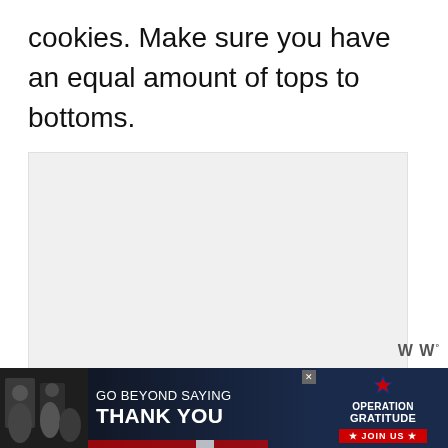cookies. Make sure you have an equal amount of tops to bottoms.
[Figure (photo): Large light gray placeholder image area for a recipe photo]
[Figure (infographic): Advertisement banner: GO BEYOND SAYING THANK YOU - Operation Gratitude JOIN US]
6